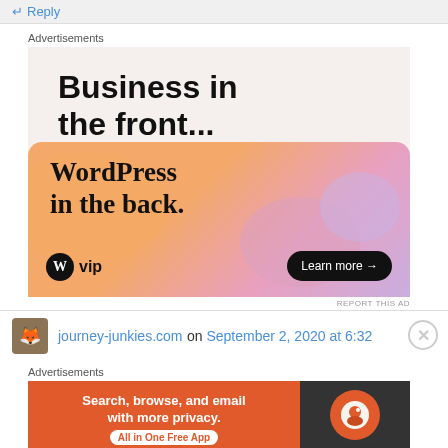↵ Reply
Advertisements
[Figure (illustration): WordPress VIP advertisement: 'Business in the front... WordPress in the back.' with orange/pink gradient background and Learn more button]
REPORT THIS AD
journey-junkies.com on September 2, 2020 at 6:32
Advertisements
[Figure (illustration): DuckDuckGo advertisement: 'Search, browse, and email with more privacy. All in One Free App']